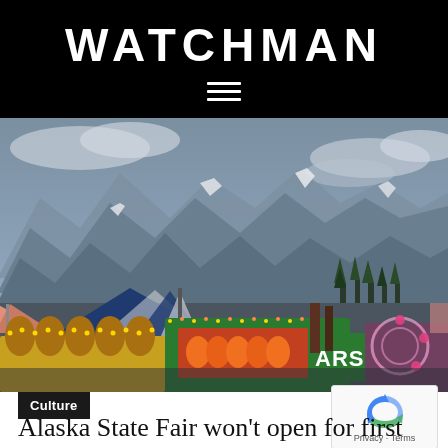WATCHMAN
[Figure (photo): Aerial view of Alaska State Fair grounds showing colorful carnival tents, fair rides, and game booths in the foreground with dramatic mountain peaks and cloudy sky in the background.]
Culture
Alaska State Fair won't open for first time